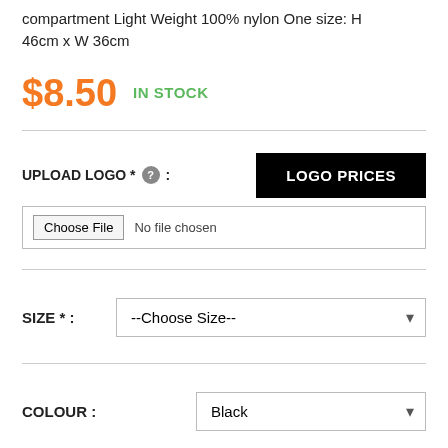compartment  Light  Weight  100%  nylon  One  size:  H 46cm x W 36cm
$8.50  IN STOCK
UPLOAD LOGO * :
LOGO PRICES
Choose File  No file chosen
SIZE * :
--Choose Size--
COLOUR :
Black
QUANTITY :